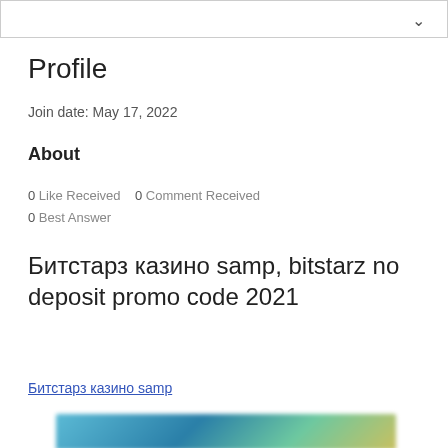Profile
Join date: May 17, 2022
About
0 Like Received  0 Comment Received
0 Best Answer
Битстарз казино samp, bitstarz no deposit promo code 2021
Битстарз казино samp
[Figure (photo): Blurred image preview at bottom of page]